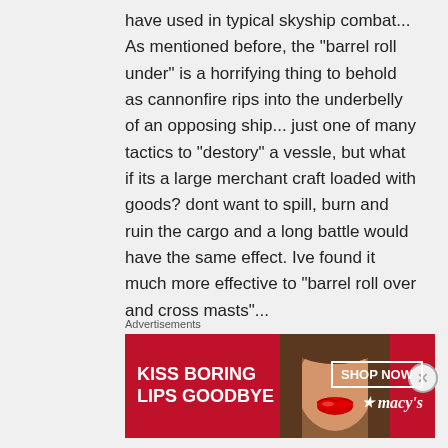have used in typical skyship combat... As mentioned before, the “barrel roll under” is a horrifying thing to behold as cannonfire rips into the underbelly of an opposing ship... just one of many tactics to “destory” a vessle, but what if its a large merchant craft loaded with goods? dont want to spill, burn and ruin the cargo and a long battle would have the same effect. Ive found it much more effective to “barrel roll over and cross masts”...
Advertisements
[Figure (other): Advertisement banner for Macy's lipstick product. Red background with woman's face showing red lips. Text reads 'KISS BORING LIPS GOODBYE' on the left, 'SHOP NOW' button and Macy's star logo on the right.]